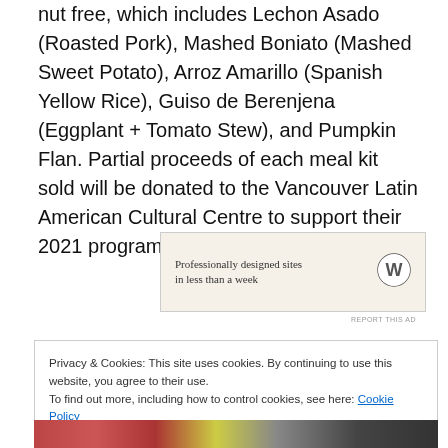nut free, which includes Lechon Asado (Roasted Pork), Mashed Boniato (Mashed Sweet Potato), Arroz Amarillo (Spanish Yellow Rice), Guiso de Berenjena (Eggplant + Tomato Stew), and Pumpkin Flan. Partial proceeds of each meal kit sold will be donated to the Vancouver Latin American Cultural Centre to support their 2021 programming.
[Figure (other): WordPress advertisement banner: 'Professionally designed sites in less than a week' with WordPress logo]
REPORT THIS AD
Privacy & Cookies: This site uses cookies. By continuing to use this website, you agree to their use.
To find out more, including how to control cookies, see here: Cookie Policy
Close and accept
[Figure (photo): Partial photo strip of food dishes at the bottom of the page]